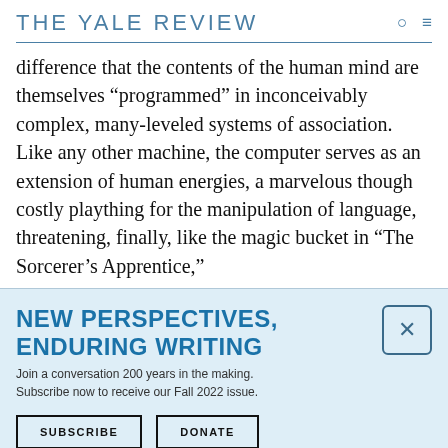THE YALE REVIEW
difference that the contents of the human mind are themselves “programmed” in inconceivably complex, many-leveled systems of association. Like any other machine, the computer serves as an extension of human energies, a marvelous though costly plaything for the manipulation of language, threatening, finally, like the magic bucket in “The Sorcerer’s Apprentice,”
NEW PERSPECTIVES, ENDURING WRITING
Join a conversation 200 years in the making. Subscribe now to receive our Fall 2022 issue.
SUBSCRIBE
DONATE